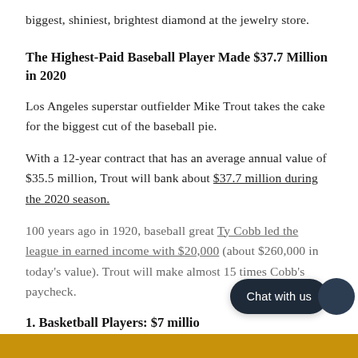biggest, shiniest, brightest diamond at the jewelry store.
The Highest-Paid Baseball Player Made $37.7 Million in 2020
Los Angeles superstar outfielder Mike Trout takes the cake for the biggest cut of the baseball pie.
With a 12-year contract that has an average annual value of $35.5 million, Trout will bank about $37.7 million during the 2020 season.
100 years ago in 1920, baseball great Ty Cobb led the league in earned income with $20,000 (about $260,000 in today's value). Trout will make almost 15 times Cobb's paycheck.
1. Basketball Players: $7 million